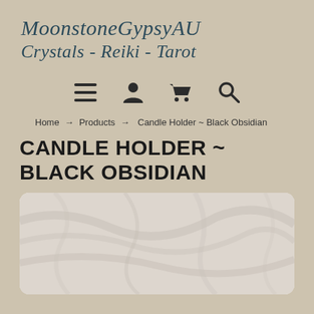MoonstoneGypsyAU
Crystals - Reiki - Tarot
[Figure (infographic): Navigation icon bar with hamburger menu, user/person icon, shopping cart icon, and search magnifying glass icon]
Home → Products → Candle Holder ~ Black Obsidian
CANDLE HOLDER ~ BLACK OBSIDIAN
[Figure (photo): Product image showing a Black Obsidian candle holder, mostly white/light colored with subtle marbled texture visible]